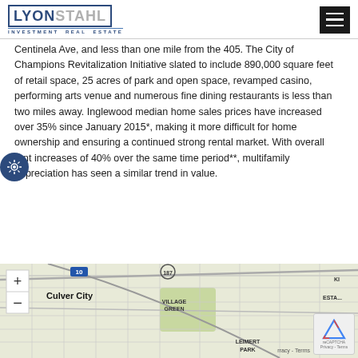LYON STAHL INVESTMENT REAL ESTATE
Centinela Ave, and less than one mile from the 405. The City of Champions Revitalization Initiative slated to include 890,000 square feet of retail space, 25 acres of park and open space, revamped casino, performing arts venue and numerous fine dining restaurants is less than two miles away. Inglewood median home sales prices have increased over 35% since January 2015*, making it more difficult for home ownership and ensuring a continued strong rental market. With overall rent increases of 40% over the same time period**, multifamily appreciation has seen a similar trend in value.
[Figure (map): Street map showing Culver City area with surrounding neighborhoods including Village Green, Leimert Park, and other nearby areas. Map includes zoom controls (+/-) and shows road network.]